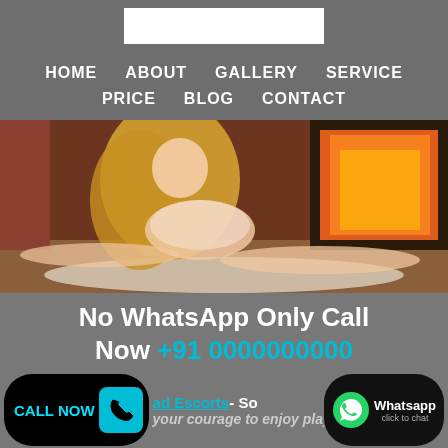[Figure (logo): White rectangle logo placeholder]
HOME   ABOUT   GALLERY   SERVICE   PRICE   BLOG   CONTACT
[Figure (photo): Blonde woman in lingerie posing in front of a fireplace]
No WhatsApp Only Call Now +91 0000000000
CALL NOW  ad Escorts- So  your courage to enjoy playfun with